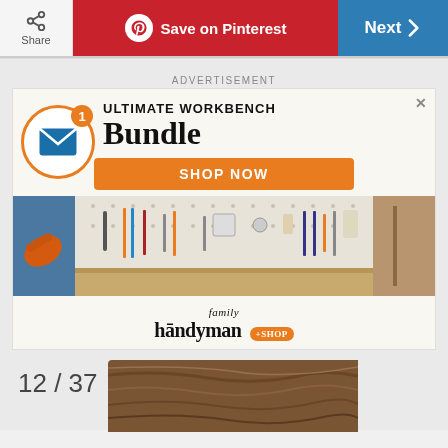Share | Save on Pinterest | Next
ADVERTISEMENT
[Figure (screenshot): Advertisement for Family Handyman Ultimate Workbench Bundle with a photo of a workbench with tools organized on pegboard, email notification icon with badge showing 1, SHOP NOW button, and Family Handyman + Shop logo]
12 / 37